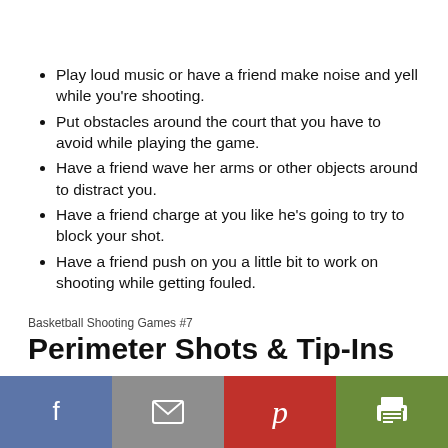Play loud music or have a friend make noise and yell while you're shooting.
Put obstacles around the court that you have to avoid while playing the game.
Have a friend wave her arms or other objects around to distract you.
Have a friend charge at you like he's going to try to block your shot.
Have a friend push on you a little bit to work on shooting while getting fouled.
Basketball Shooting Games #7
Perimeter Shots & Tip-Ins
[Figure (other): Social sharing footer bar with Facebook, email, Pinterest, and print icons]